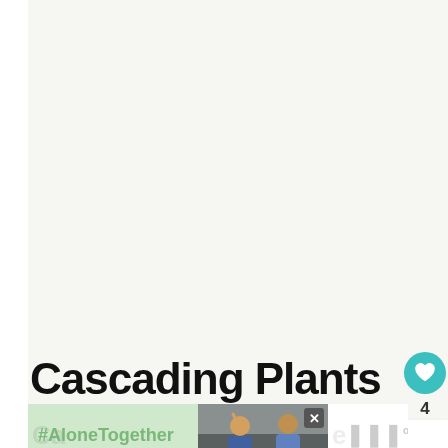[Figure (photo): Large light gray/beige image area (cropped plant photograph, mostly empty/washed out in this view)]
[Figure (other): Heart (like) button - teal circle with white heart icon, count '4' below, and a share button circle below that]
[Figure (other): WHAT'S NEXT panel with thumbnail of carrots/vegetables and text 'The Best Edible Plant...']
Cascading Plants
[Figure (screenshot): Advertisement overlay with #AloneTogether text on green background, photo of people on video call, close X button, and logo on right]